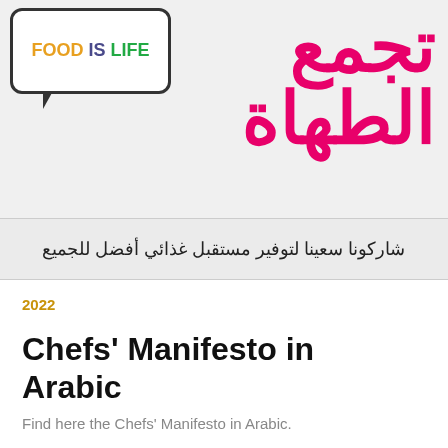[Figure (illustration): Banner image with a speech bubble containing 'FOOD IS LIFE' in colorful text on the left, and large pink Arabic text 'تجمع الطهاة' on the right, on a light gray background. Below the main graphic area is a subtitle bar with Arabic text 'شاركونا سعينا لتوفير مستقبل غذائي أفضل للجميع'.]
2022
Chefs' Manifesto in Arabic
Find here the Chefs' Manifesto in Arabic.